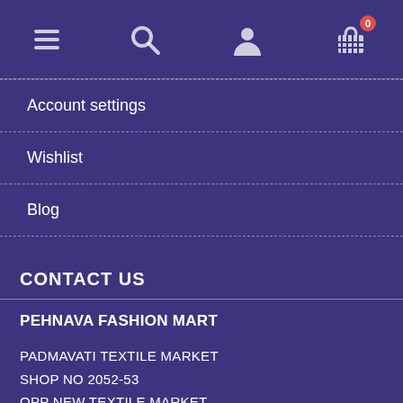[Figure (screenshot): Top navigation bar with hamburger menu icon, search icon, account/user icon, and shopping cart icon with badge showing 0]
Account settings
Wishlist
Blog
CONTACT US
PEHNAVA FASHION MART

PADMAVATI TEXTILE MARKET
SHOP NO 2052-53
OPP NEW TEXTILE MARKET
RING ROAD-395003 SURAT
JOIN US